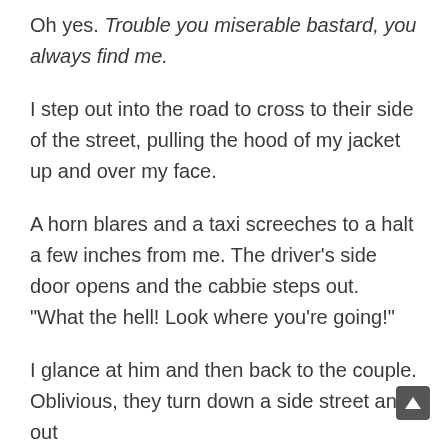Oh yes. Trouble you miserable bastard, you always find me.
I step out into the road to cross to their side of the street, pulling the hood of my jacket up and over my face.
A horn blares and a taxi screeches to a halt a few inches from me. The driver’s side door opens and the cabbie steps out. “What the hell! Look where you’re going!”
I glance at him and then back to the couple. Oblivious, they turn down a side street and out of sight. If I run it’s obvious. I’ll lose them at the